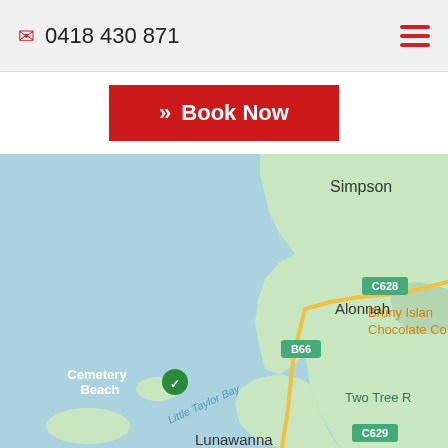0418 430 871
>> Book Now
[Figure (map): Google Maps screenshot showing Bruny Island area in Tasmania, Australia. Shows Alonnah, Cemetery Beach, Little Taylor Bay, Lunawanna, Simpson, Two Tree R, Bruny Island Chocolate Co labels, with road B66 and C628/C629 markers. Water shown in light blue, land in light green.]